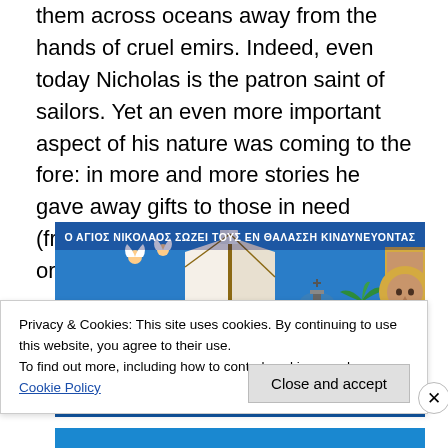them across oceans away from the hands of cruel emirs. Indeed, even today Nicholas is the patron saint of sailors. Yet an even more important aspect of his nature was coming to the fore: in more and more stories he gave away gifts to those in need (frequently under cover of anonymity) or looked after children in peril.
[Figure (photo): A Byzantine-style icon painting depicting Saint Nicholas saving sailors at sea. Shows a ship with white sail, figures in colorful robes reaching from the water, a small church with blue dome, palm trees, and a large portrait of Saint Nicholas with golden halo on the right. Greek text inscription at the top reads: Ο ΑΓΙΟΣ ΝΙΚΟΛΑΟΣ ΣΩΖΕΙ ΤΟΥΣ ΕΝ ΘΑΛΑΣΣH ΚΙΝΔΥΝΕΥΟΝΤΑΣ]
Privacy & Cookies: This site uses cookies. By continuing to use this website, you agree to their use.
To find out more, including how to control cookies, see here: Cookie Policy
Close and accept